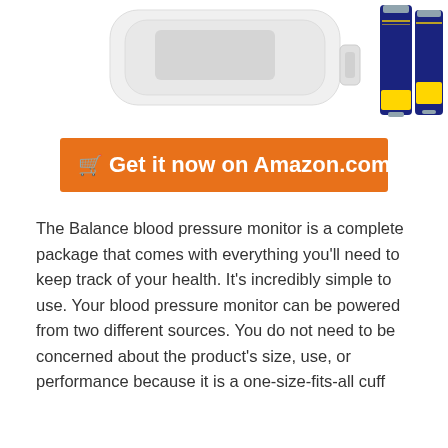[Figure (photo): Product photo showing a white blood pressure monitor device alongside two AA batteries (blue/gold Duracell-style batteries) on a white background.]
🛒 Get it now on Amazon.com
The Balance blood pressure monitor is a complete package that comes with everything you'll need to keep track of your health. It's incredibly simple to use. Your blood pressure monitor can be powered from two different sources. You do not need to be concerned about the product's size, use, or performance because it is a one-size-fits-all cuff